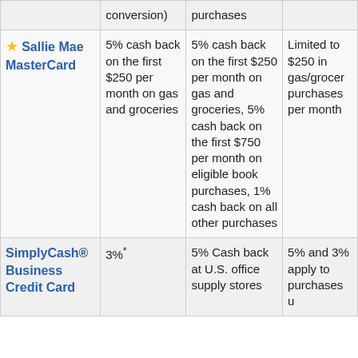| Card | Gas/Grocery Reward | Reward Details | Limitations |
| --- | --- | --- | --- |
| (conversion) | purchases |  |  |
| ⭐ Sallie Mae MasterCard | 5% cash back on the first $250 per month on gas and groceries | 5% cash back on the first $250 per month on gas and groceries, 5% cash back on the first $750 per month on eligible book purchases, 1% cash back on all other purchases | Limited to $250 in gas/grocery purchases per month |
| SimplyCash® Business Credit Card | 3%* | 5% Cash back at U.S. office supply stores | 5% and 3% apply to purchases u |